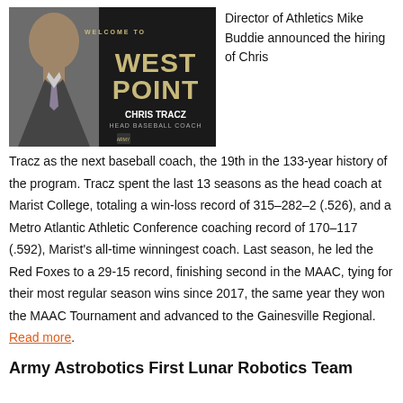[Figure (photo): Welcome to West Point announcement graphic featuring Chris Tracz named as Head Baseball Coach, with his photo on the left and gold text 'WEST POINT' on dark background]
Director of Athletics Mike Buddie announced the hiring of Chris Tracz as the next baseball coach, the 19th in the 133-year history of the program. Tracz spent the last 13 seasons as the head coach at Marist College, totaling a win-loss record of 315–282–2 (.526), and a Metro Atlantic Athletic Conference coaching record of 170–117 (.592), Marist's all-time winningest coach. Last season, he led the Red Foxes to a 29-15 record, finishing second in the MAAC, tying for their most regular season wins since 2017, the same year they won the MAAC Tournament and advanced to the Gainesville Regional. Read more.
Army Astrobotics First Lunar Robotics Team